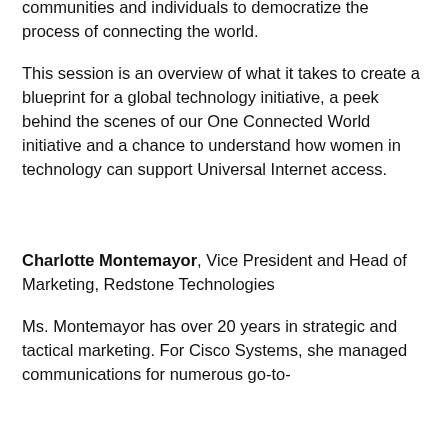communities and individuals to democratize the process of connecting the world.
This session is an overview of what it takes to create a blueprint for a global technology initiative, a peek behind the scenes of our One Connected World initiative and a chance to understand how women in technology can support Universal Internet access.
Charlotte Montemayor, Vice President and Head of Marketing, Redstone Technologies
Ms. Montemayor has over 20 years in strategic and tactical marketing. For Cisco Systems, she managed communications for numerous go-to-